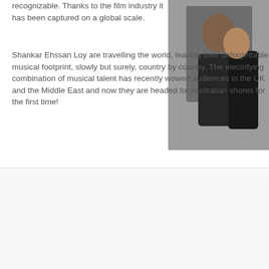recognizable. Thanks to the film industry it has been captured on a global scale.
Shankar Ehssan Loy are travelling the world, leaving their unforgettable musical footprint, slowly but surely, country by country. The electrifying combination of musical talent has recently wowed audiences in the UK and the Middle East and now they are headed for Australian shores for the first time!
[Figure (photo): Two people dressed in dark clothing standing against a grey background]
SEL will be performing live in Australia for the first time ever in Melbourne and Sydney. To purchase tickets for this not-to-be-missed event click here.